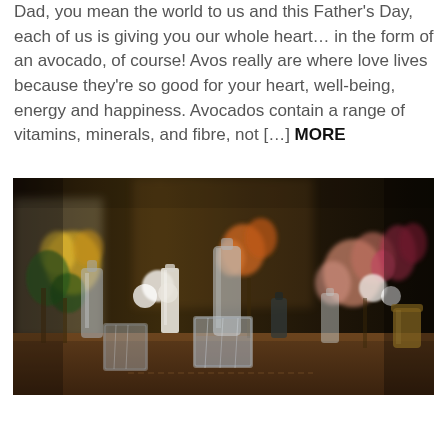Dad, you mean the world to us and this Father's Day, each of us is giving you our whole heart… in the form of an avocado, of course! Avos really are where love lives because they're so good for your heart, well-being, energy and happiness. Avocados contain a range of vitamins, minerals, and fibre, not […] MORE
[Figure (photo): A photo of a table setting with various flowers in vases and glasses/bottles arranged on a wooden table. Flowers include yellow, green, orange, pink and white blooms. The background is dark and blurred.]